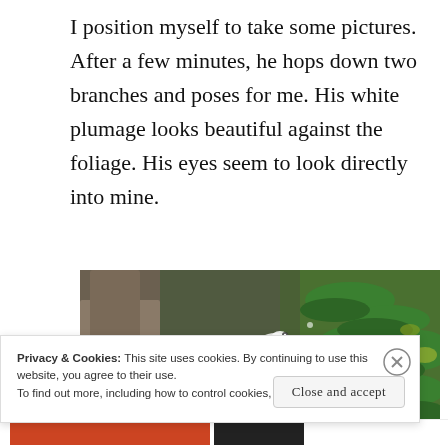I position myself to take some pictures. After a few minutes, he hops down two branches and poses for me. His white plumage looks beautiful against the foliage. His eyes seem to look directly into mine.
[Figure (photo): Close-up photo of tree branches with green pine needles and bark, partially showing a bird with white plumage among the foliage.]
Privacy & Cookies: This site uses cookies. By continuing to use this website, you agree to their use.
To find out more, including how to control cookies, see here: Cookie Policy
Close and accept